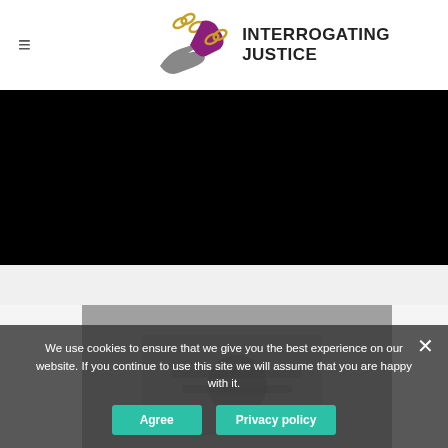≡  INTERROGATING JUSTICE
[Figure (other): Black video embed area]
[Figure (photo): Article image showing person handling documents, partially visible behind cookie banner]
We use cookies to ensure that we give you the best experience on our website. If you continue to use this site we will assume that you are happy with it.
Agree   Privacy policy